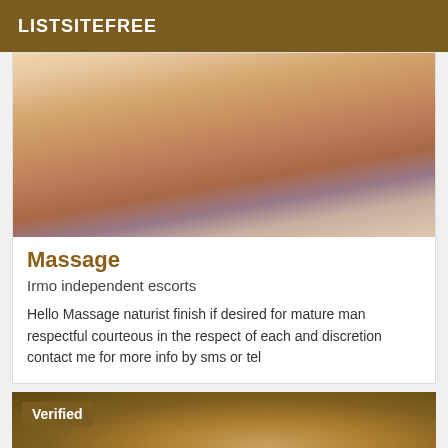LISTSITEFREE
[Figure (photo): Photo of a person lying face down, back view, wearing dark lace underwear, on a light surface.]
Massage
Irmo independent escorts
Hello Massage naturist finish if desired for mature man respectful courteous in the respect of each and discretion contact me for more info by sms or tel
[Figure (photo): Partially visible second listing card with a brown/amber background and a 'Verified' badge in the top-left corner.]